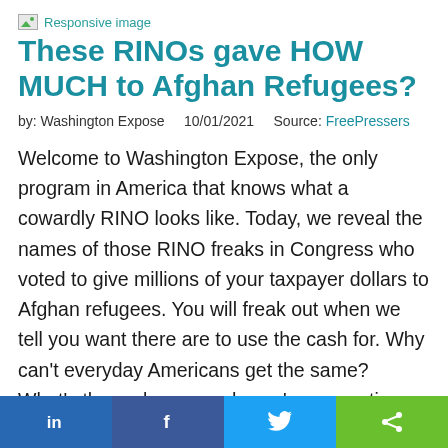[Figure (other): Broken/placeholder image icon with label 'Responsive image']
These RINOs gave HOW MUCH to Afghan Refugees?
by: Washington Expose    10/01/2021    Source: FreePressers
Welcome to Washington Expose, the only program in America that knows what a cowardly RINO looks like. Today, we reveal the names of those RINO freaks in Congress who voted to give millions of your taxpayer dollars to Afghan refugees. You will freak out when we tell you want there are to use the cash for. Why can't everyday Americans get the same? What's the real reason why we're supporting these Afghans? H...will this cha...t in the mid...? Th...
[Figure (infographic): Social media sharing bar with LinkedIn, Facebook, Twitter, and Share buttons]